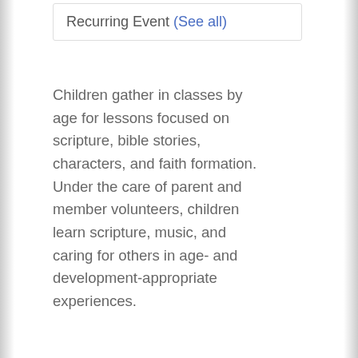Recurring Event (See all)
Children gather in classes by age for lessons focused on scripture, bible stories, characters, and faith formation. Under the care of parent and member volunteers, children learn scripture, music, and caring for others in age- and development-appropriate experiences.